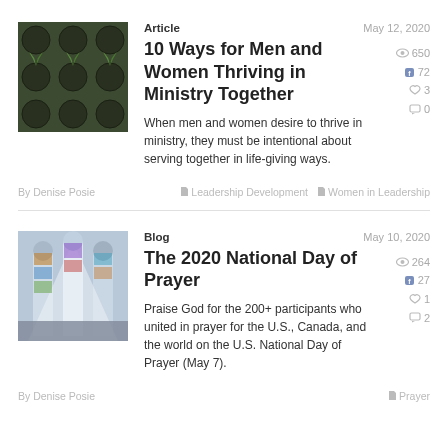[Figure (photo): Overhead view of small plants in black cylindrical pots arranged in a grid]
Article
May 12, 2020
10 Ways for Men and Women Thriving in Ministry Together
650 views, 72 Facebook shares, 3 likes, 0 comments
When men and women desire to thrive in ministry, they must be intentional about serving together in life-giving ways.
By Denise Posie
Leadership Development  Women in Leadership
[Figure (photo): Interior of a cathedral with tall stained glass windows]
Blog
May 10, 2020
The 2020 National Day of Prayer
264 views, 27 Facebook shares, 1 like, 2 comments
Praise God for the 200+ participants who united in prayer for the U.S., Canada, and the world on the U.S. National Day of Prayer (May 7).
By Denise Posie
Prayer